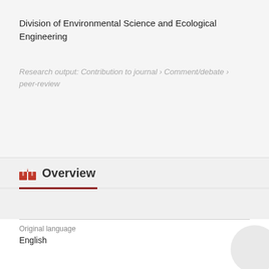Division of Environmental Science and Ecological Engineering
Research output: Contribution to journal › Comment/debate › peer-review
Overview
Original language
English